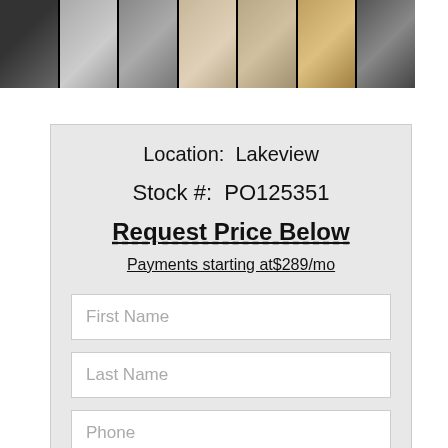[Figure (photo): Strip of 7 thumbnail photos of an RV interior and exterior at the top of the page]
Location:  Lakeview
Stock #:  PO125351
Request Price Below
Payments starting at$289/mo
First Name
Last Name
Phone
Email
Get the Lowest Price
Receive an additional $2,000 discount when you finance this RV with us!